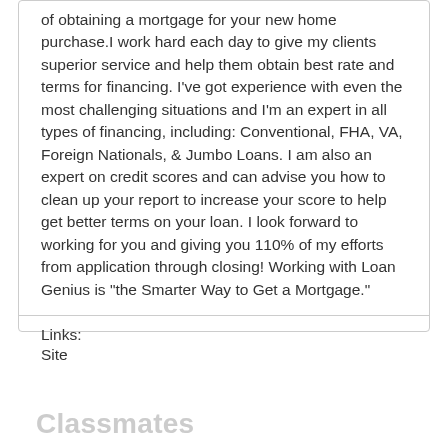of obtaining a mortgage for your new home purchase.I work hard each day to give my clients superior service and help them obtain best rate and terms for financing. I've got experience with even the most challenging situations and I'm an expert in all types of financing, including: Conventional, FHA, VA, Foreign Nationals, & Jumbo Loans. I am also an expert on credit scores and can advise you how to clean up your report to increase your score to help get better terms on your loan. I look forward to working for you and giving you 110% of my efforts from application through closing! Working with Loan Genius is "the Smarter Way to Get a Mortgage."
Links:
Site
Classmates